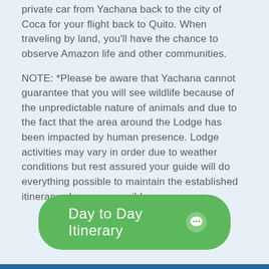private car from Yachana back to the city of Coca for your flight back to Quito. When traveling by land, you'll have the chance to observe Amazon life and other communities.
NOTE: *Please be aware that Yachana cannot guarantee that you will see wildlife because of the unpredictable nature of animals and due to the fact that the area around the Lodge has been impacted by human presence. Lodge activities may vary in order due to weather conditions but rest assured your guide will do everything possible to maintain the established itinerary whenever possible.
[Figure (other): Green rounded button labeled 'Day to Day Itinerary' with a white chat bubble icon on the right]